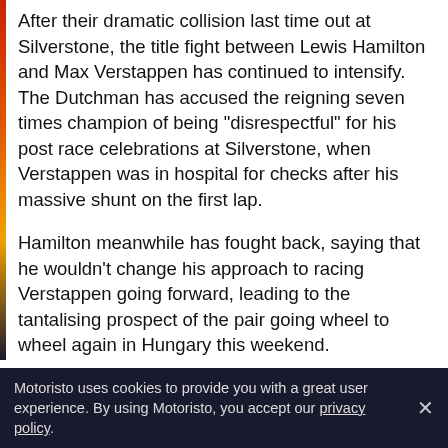After their dramatic collision last time out at Silverstone, the title fight between Lewis Hamilton and Max Verstappen has continued to intensify. The Dutchman has accused the reigning seven times champion of being "disrespectful" for his post race celebrations at Silverstone, when Verstappen was in hospital for checks after his massive shunt on the first lap.
Hamilton meanwhile has fought back, saying that he wouldn't change his approach to racing Verstappen going forward, leading to the tantalising prospect of the pair going wheel to wheel again in Hungary this weekend.
It has also been revealed that Hamilton had called Verstappen in the days after the British GP, to check on his rival's condition following his accident.
Motoristo uses cookies to provide you with a great user experience. By using Motoristo, you accept our privacy policy.